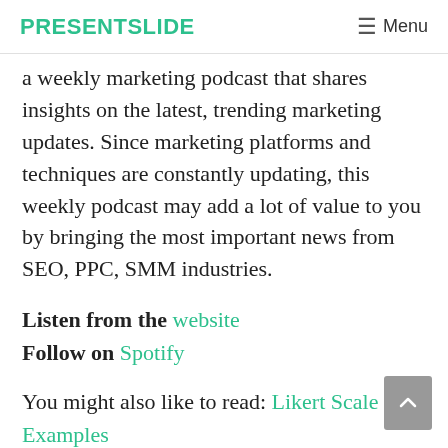PRESENTSLIDE  ≡ Menu
a weekly marketing podcast that shares insights on the latest, trending marketing updates. Since marketing platforms and techniques are constantly updating, this weekly podcast may add a lot of value to you by bringing the most important news from SEO, PPC, SMM industries.
Listen from the website
Follow on Spotify
You might also like to read: Likert Scale Examples